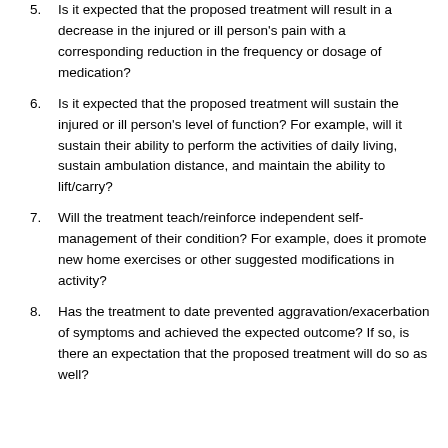5. Is it expected that the proposed treatment will result in a decrease in the injured or ill person's pain with a corresponding reduction in the frequency or dosage of medication?
6. Is it expected that the proposed treatment will sustain the injured or ill person's level of function? For example, will it sustain their ability to perform the activities of daily living, sustain ambulation distance, and maintain the ability to lift/carry?
7. Will the treatment teach/reinforce independent self-management of their condition? For example, does it promote new home exercises or other suggested modifications in activity?
8. Has the treatment to date prevented aggravation/exacerbation of symptoms and achieved the expected outcome? If so, is there an expectation that the proposed treatment will do so as well?